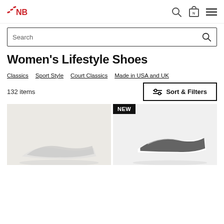[Figure (logo): New Balance red logo]
Search
Women's Lifestyle Shoes
Classics
Sport Style
Court Classics
Made in USA and UK
132 items
Sort & Filters
[Figure (photo): Women's lifestyle shoe product photo, left card, light beige background]
[Figure (photo): Women's lifestyle shoe product photo with NEW badge, right card, light gray background]